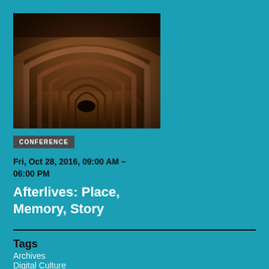[Figure (photo): Dark brick archway tunnel with repeating arches receding into the distance, photographed in warm brown/sepia tones]
CONFERENCE
Fri, Oct 28, 2016, 09:00 AM – 06:00 PM
Afterlives: Place, Memory, Story
Tags
Archives
Digital Culture
History